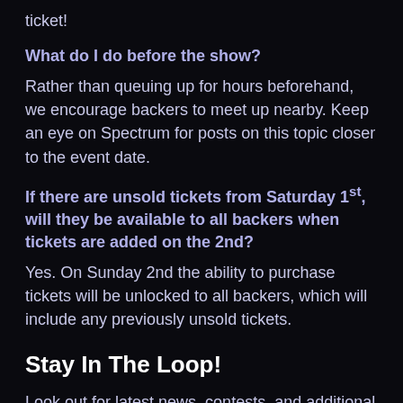ticket!
What do I do before the show?
Rather than queuing up for hours beforehand, we encourage backers to meet up nearby. Keep an eye on Spectrum for posts on this topic closer to the event date.
If there are unsold tickets from Saturday 1st, will they be available to all backers when tickets are added on the 2nd?
Yes. On Sunday 2nd the ability to purchase tickets will be unlocked to all backers, which will include any previously unsold tickets.
Stay In The Loop!
Look out for latest news, contests, and additional information about CitizenCon. Whether you’re with us in Germany, or back at home, keep up to date with all things Star Citizen by following our various channels on social media:
Twitter
Facebook